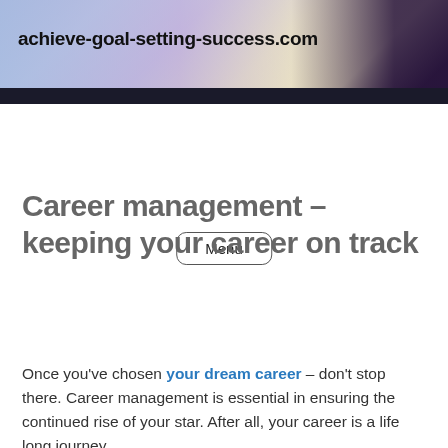[Figure (photo): Website banner with blurred bokeh background in blue, purple, and warm tones with dark right side]
achieve-goal-setting-success.com
Menu
Career management – keeping your career on track
Once you've chosen your dream career – don't stop there. Career management is essential in ensuring the continued rise of your star. After all, your career is a life long journey